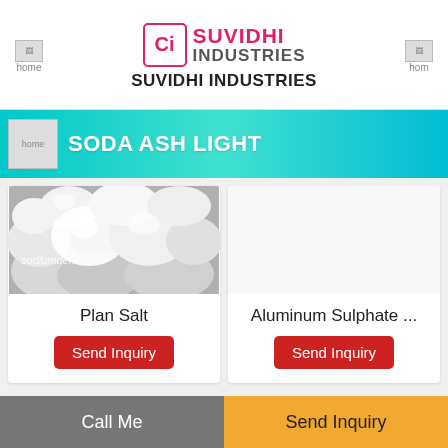SUVIDHI INDUSTRIES
SODA ASH LIGHT
[Figure (photo): Photo of white crystalline salt lumps with watermark text 'sodiumderiv...']
Plan Salt
Send Inquiry
Aluminum Sulphate ...
Send Inquiry
Contact Us
Call Me
Send Inquiry